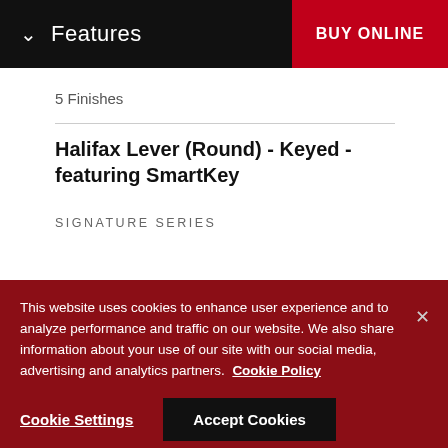Features | BUY ONLINE
5 Finishes
Halifax Lever (Round) - Keyed - featuring SmartKey
SIGNATURE SERIES
This website uses cookies to enhance user experience and to analyze performance and traffic on our website. We also share information about your use of our site with our social media, advertising and analytics partners. Cookie Policy
Cookie Settings
Accept Cookies